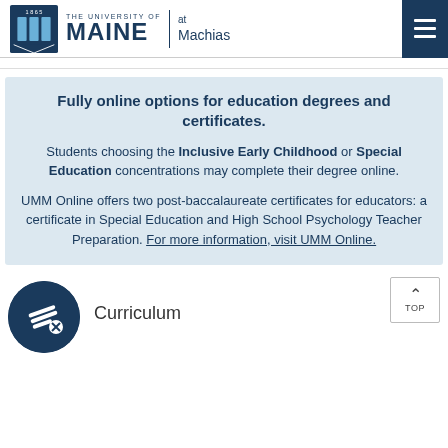The University of Maine at Machias
Fully online options for education degrees and certificates.
Students choosing the Inclusive Early Childhood or Special Education concentrations may complete their degree online.
UMM Online offers two post-baccalaureate certificates for educators: a certificate in Special Education and High School Psychology Teacher Preparation. For more information, visit UMM Online.
Curriculum